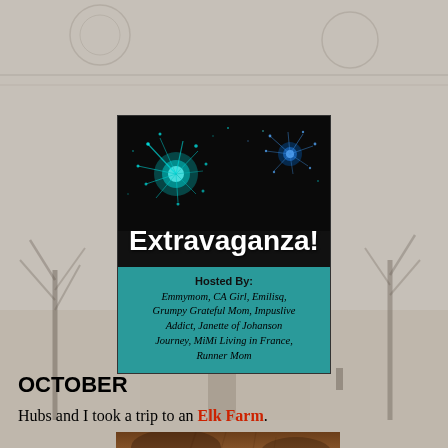[Figure (illustration): Faded vintage sepia-toned background showing a farmhouse scene with trees and figures, overlaid on gray background]
[Figure (infographic): 2011 Review Extravaganza banner with fireworks on black background top half and teal bottom half listing hosts: Emmymom, CA Girl, Emilisq, Grumpy Grateful Mom, Impuslive Addict, Janette of Johanson Journey, MiMi Living in France, Runner Mom]
OCTOBER
Hubs and I took a trip to an Elk Farm.
[Figure (photo): Close-up photo of an elk's head/back from above, brown fur, on green grass]